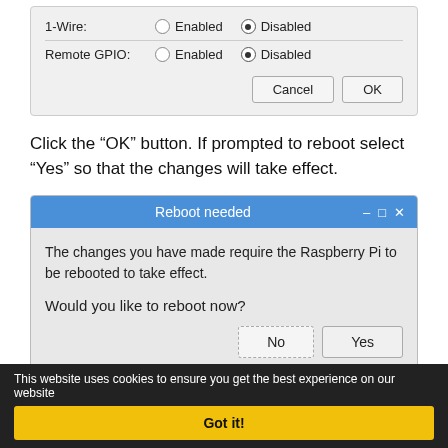[Figure (screenshot): Dialog box showing 1-Wire and Remote GPIO settings, each with Enabled/Disabled radio buttons (Disabled selected for both), and Cancel/OK buttons at the bottom right.]
Click the “OK” button. If prompted to reboot select “Yes” so that the changes will take effect.
[Figure (screenshot): Reboot needed dialog with title bar in blue showing minimize/maximize/close controls, message 'The changes you have made require the Raspberry Pi to be rebooted to take effect. Would you like to reboot now?' with No and Yes buttons.]
This website uses cookies to ensure you get the best experience on our website
Got it!